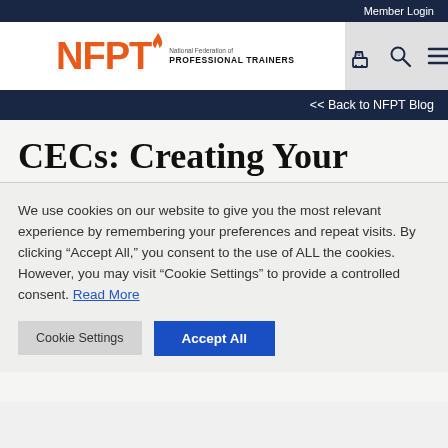Member Login
[Figure (logo): NFPT logo - National Federation of Professional Trainers with orange flame and text]
<< Back to NFPT Blog
CECs: Creating Your
We use cookies on our website to give you the most relevant experience by remembering your preferences and repeat visits. By clicking “Accept All,” you consent to the use of ALL the cookies. However, you may visit “Cookie Settings” to provide a controlled consent. Read More
Cookie Settings | Accept All